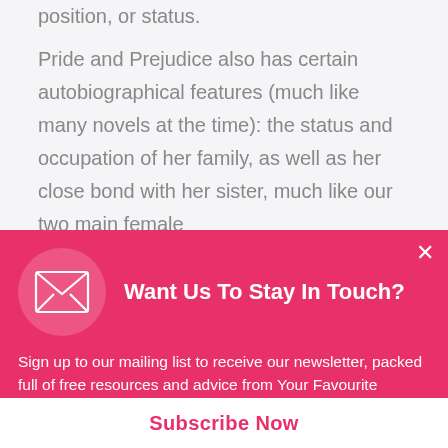position, or status.
Pride and Prejudice also has certain autobiographical features (much like many novels at the time): the status and occupation of her family, as well as her close bond with her sister, much like our two main female characters, Elizabeth and Jane, are sisters.
Want Us To Stay In Touch?
Sign up to our mailing list to receive our newsletter, packed full of free resources and advice from Your Favourite Teacher!
Subscribe Now